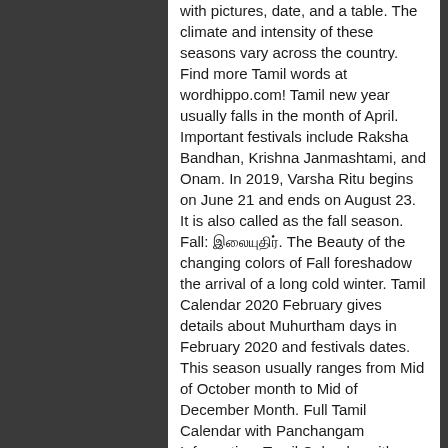with pictures, date, and a table. The climate and intensity of these seasons vary across the country. Find more Tamil words at wordhippo.com! Tamil new year usually falls in the month of April. Important festivals include Raksha Bandhan, Krishna Janmashtami, and Onam. In 2019, Varsha Ritu begins on June 21 and ends on August 23. It is also called as the fall season. Fall: இலையுதிர். The Beauty of the changing colors of Fall foreshadow the arrival of a long cold winter. Tamil Calendar 2020 February gives details about Muhurtham days in February 2020 and festivals dates. This season usually ranges from Mid of October month to Mid of December Month. Full Tamil Calendar with Panchangam Information, Tamil Calendar with Panchangam Information, https://en.wikipedia.org/w/index.php?title=Tamil_calendar&oldid=991948070, Wikipedia articles needing page number citations from February 2020, Creative Commons Attribution-ShareAlike License, Star on the Pournami: Chithirai. Acta Orientalia (1922–1927). [15][16][17] The Surya Siddhanta and other Indian classical texts on astronomy had some influence on the Chinese calendar[18]